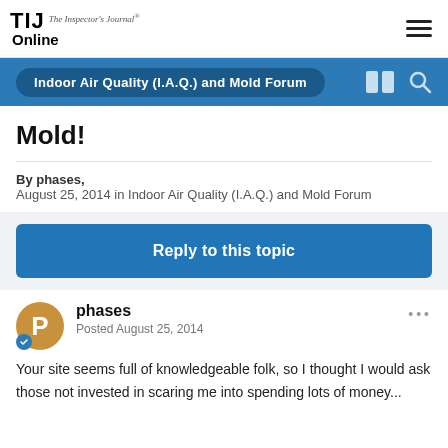TIJ The Inspector's Journal Online
Indoor Air Quality (I.A.Q.) and Mold Forum
Mold!
By phases,
August 25, 2014 in Indoor Air Quality (I.A.Q.) and Mold Forum
Reply to this topic
phases
Posted August 25, 2014
Your site seems full of knowledgeable folk, so I thought I would ask those not invested in scaring me into spending lots of money...